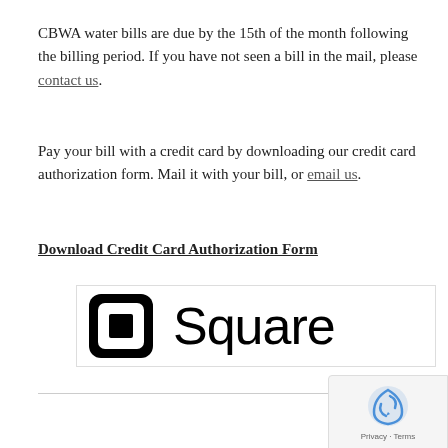CBWA water bills are due by the 15th of the month following the billing period. If you have not seen a bill in the mail, please contact us.
Pay your bill with a credit card by downloading our credit card authorization form. Mail it with your bill, or email us.
Download Credit Card Authorization Form
[Figure (logo): Square payment logo — rounded square icon with a smaller square inside, next to the word 'Square' in large sans-serif text]